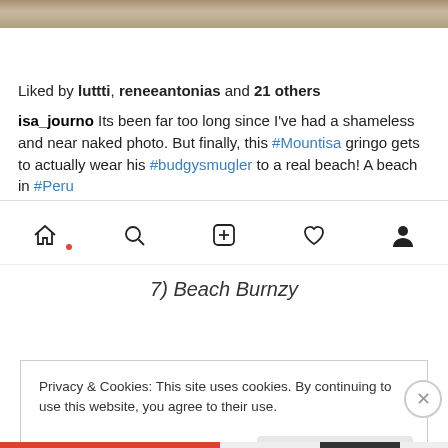[Figure (screenshot): Top strip of a beach/sand photo]
[Figure (other): Instagram action icons: heart, comment, share (left); bookmark (right)]
Liked by luttti, reneeantonias and 21 others
isa_journo Its been far too long since I've had a shameless and near naked photo. But finally, this #Mountisa gringo gets to actually wear his #budgysmugler to a real beach! A beach in #Peru
[Figure (other): Instagram navigation bar with home, search, plus, heart, profile icons]
7) Beach Burnzy
Privacy & Cookies: This site uses cookies. By continuing to use this website, you agree to their use.
To find out more, including how to control cookies, see here: Cookie Policy
Close and accept